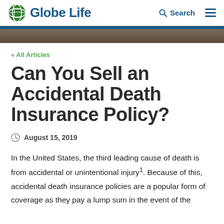Globe Life — Search (hamburger menu)
« All Articles
Can You Sell an Accidental Death Insurance Policy?
August 15, 2019
In the United States, the third leading cause of death is from accidental or unintentional injury¹. Because of this, accidental death insurance policies are a popular form of coverage as they pay a lump sum in the event of the